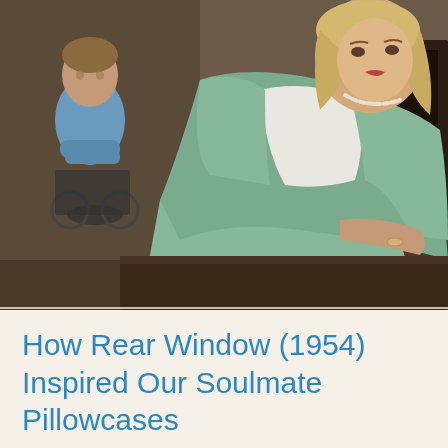[Figure (photo): A still from the 1954 film Rear Window. A blonde woman in a light mint/sage green dress reclines on a surface in the foreground. A man in a light blue shirt sits in a wheelchair in the background left. The setting appears to be an apartment interior with dark furniture and a telephone visible in the background.]
How Rear Window (1954) Inspired Our Soulmate Pillowcases